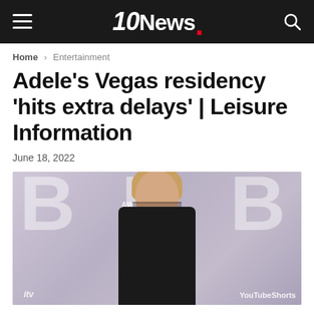10News.
Home > Entertainment
Adele’s Vegas residency ‘hits extra delays’ | Leisure Information
June 18, 2022
[Figure (photo): Adele posing at the BRIT Awards on a grey backdrop with large 'B' letters, wearing a black off-shoulder gown with sheer neckline detail. ITV and YouTube Shorts logos visible at bottom.]